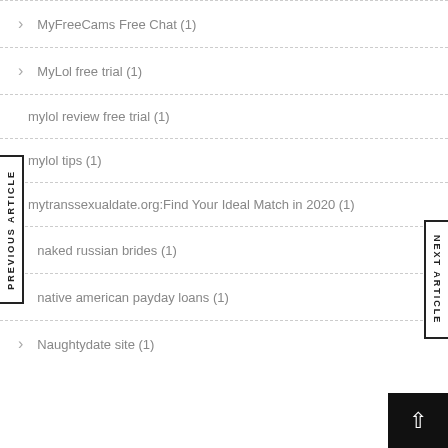MyFreeCams Free Chat (1)
MyLol free trial (1)
mylol review free trial (1)
mylol tips (1)
mytranssexualdate.org:Find Your Ideal Match in 2020 (1)
naked russian brides (1)
native american payday loans (1)
Naughtydate site (1)